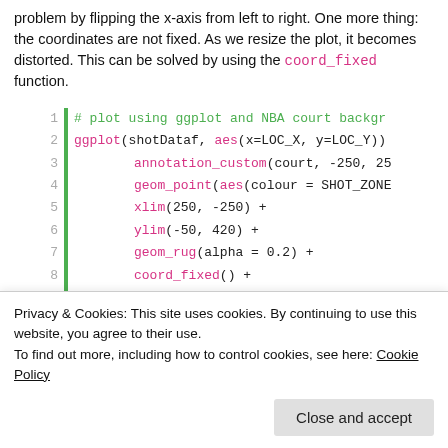problem by flipping the x-axis from left to right. One more thing: the coordinates are not fixed. As we resize the plot, it becomes distorted. This can be solved by using the coord_fixed function.
# plot using ggplot and NBA court backgr
ggplot(shotDataf, aes(x=LOC_X, y=LOC_Y))
    annotation_custom(court, -250, 25
    geom_point(aes(colour = SHOT_ZONE
    xlim(250, -250) +
    ylim(-50, 420) +
    geom_rug(alpha = 0.2) +
    coord_fixed() +
    ggtitle(paste("Shot Chart\n", uni
    theme(line = element_blank(),
          axis.title.x = element_blan
          axis.title.y = element_blan
          axis.text.x = element_blank
          axis.text.y = element_blank
Privacy & Cookies: This site uses cookies. By continuing to use this website, you agree to their use.
To find out more, including how to control cookies, see here: Cookie Policy
Close and accept